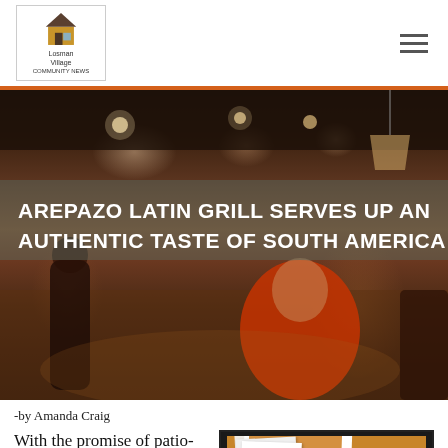Losman Village community news
[Figure (photo): People dancing at Arepazo Latin Grill restaurant interior with wood floors and industrial ceiling with hanging lights]
AREPAZO LATIN GRILL SERVES UP AN AUTHENTIC TASTE OF SOUTH AMERICA
-by Amanda Craig
With the promise of patio-friendly days ahead, it's only natural to
[Figure (photo): Food or drink item at Arepazo Latin Grill shown in polaroid-style photo framing]